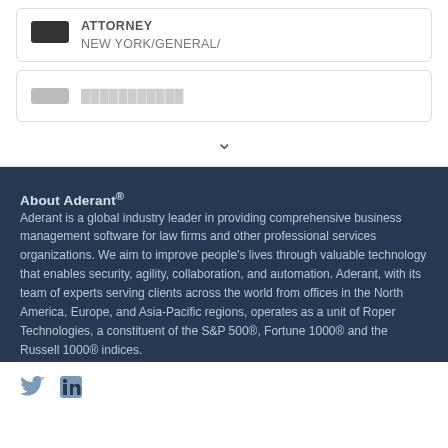ATTORNEY
NEW YORK/GENERAL/
[Figure (other): Partially visible second card with a grey icon placeholder and faded text, with a chevron/down arrow below]
About Aderant®
Aderant is a global industry leader in providing comprehensive business management software for law firms and other professional services organizations. We aim to improve people's lives through valuable technology that enables security, agility, collaboration, and automation. Aderant, with its team of experts serving clients across the world from offices in the North America, Europe, and Asia-Pacific regions, operates as a unit of Roper Technologies, a constituent of the S&P 500®, Fortune 1000® and the Russell 1000® indices.
[Figure (other): Social media icons: Twitter bird and LinkedIn logo in the footer area]